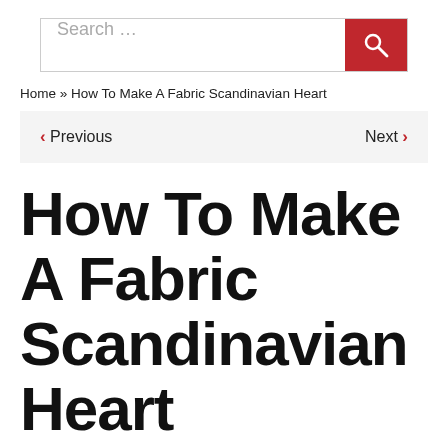Search ...
Home » How To Make A Fabric Scandinavian Heart
< Previous   Next >
How To Make A Fabric Scandinavian Heart
WEALLSEW
DECEMBER 28, 2016